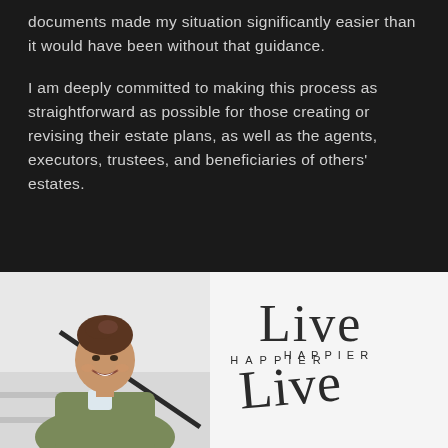documents made my situation significantly easier than it would have been without that guidance.
I am deeply committed to making this process as straightforward as possible for those creating or revising their estate plans, as well as the agents, executors, trustees, and beneficiaries of others' estates.
[Figure (photo): Portrait photo of a smiling woman with brown hair pulled up, wearing an olive green jacket, photographed in front of stairs with a white/light background.]
[Figure (logo): Live Happier logo — cursive script word 'Live' above the printed word 'HAPPIER' in wide-spaced capital letters.]